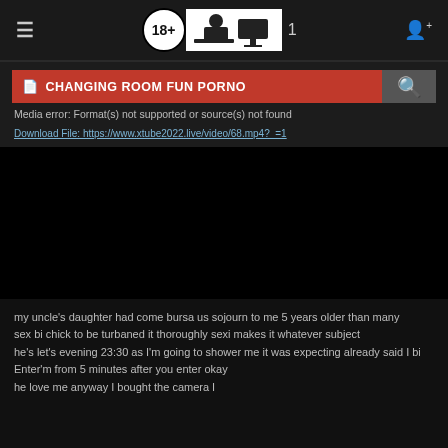≡  18+  [logo image]  1  👤+
CHANGING ROOM FUN PORNO
Media error: Format(s) not supported or source(s) not found
Download File: https://www.xtube2022.live/video/68.mp4?_=1
[Figure (other): Black video player area with media error]
my uncle's daughter had come bursa us sojourn to me 5 years older than many
sex bi chick to be turbaned it thoroughly sexi makes it whatever subject
he's let's evening 23:30 as I'm going to shower me it was expecting already said I bi Enter'm from 5 minutes after you enter okay
he love me anyway I bought the camera I